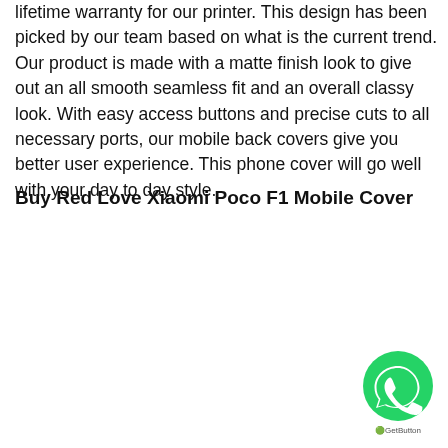lifetime warranty for our printer. This design has been picked by our team based on what is the current trend. Our product is made with a matte finish look to give out an all smooth seamless fit and an overall classy look. With easy access buttons and precise cuts to all necessary ports, our mobile back covers give you better user experience. This phone cover will go well with your day to day style.
Buy Red Love Xiaomi Poco F1 Mobile Cover
[Figure (logo): WhatsApp contact button (green circle with phone/chat icon) and GetButton label]